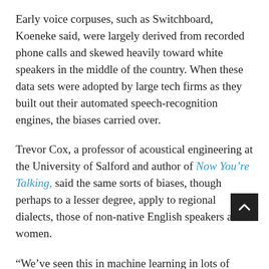Early voice corpuses, such as Switchboard, Koeneke said, were largely derived from recorded phone calls and skewed heavily toward white speakers in the middle of the country. When these data sets were adopted by large tech firms as they built out their automated speech-recognition engines, the biases carried over.
Trevor Cox, a professor of acoustical engineering at the University of Salford and author of Now You're Talking, said the same sorts of biases, though perhaps to a lesser degree, apply to regional dialects, those of non-native English speakers and women.
“We’ve seen this in machine learning in lots of areas, whe essentially, if you don’t give the data to the machine learning engine to learn, then it doesn’t learn it,” Cox said. “When Siri came out, it really struggled with Scottish accents because it didn’t have enough Scottish accents in its training data.”